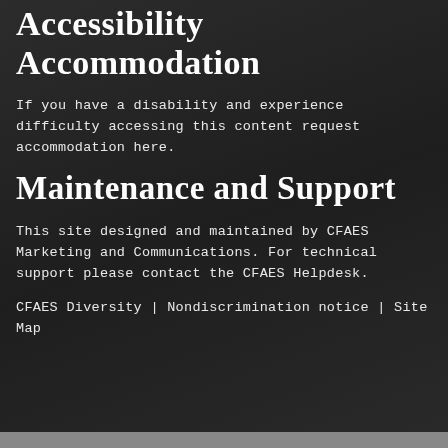Accessibility Accommodation
If you have a disability and experience difficulty accessing this content request accommodation here.
Maintenance and Support
This site designed and maintained by CFAES Marketing and Communications. For technical support please contact the CFAES Helpdesk.
CFAES Diversity | Nondiscrimination notice | Site Map